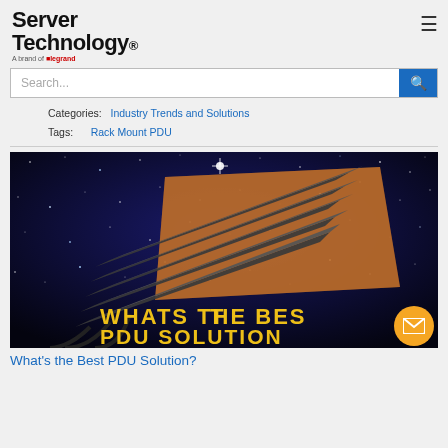Server Technology. A brand of Legrand
Categories: Industry Trends and Solutions
Tags: Rack Mount PDU
[Figure (photo): Marketing image with rack mount PDUs fanned out against a starry space background with text 'WHATS THE BEST PDU SOLUTION?']
What's the Best PDU Solution?